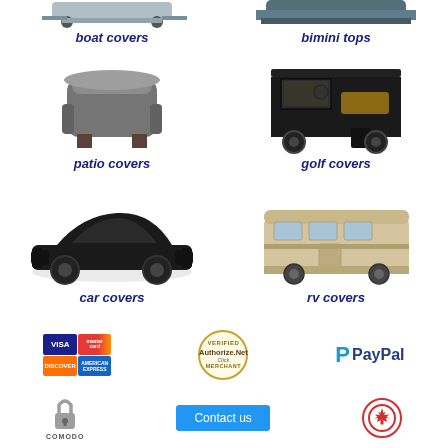[Figure (photo): Boat covers product image (top left, partially cropped)]
boat covers
[Figure (photo): Bimini tops product image (top right, partially cropped)]
bimini tops
[Figure (photo): Patio covers product image showing grey chair cover]
patio covers
[Figure (photo): Golf covers product image showing golf cart enclosure]
golf covers
[Figure (photo): Car covers product image showing black car cover on sports car]
car covers
[Figure (photo): RV covers product image showing beige RV cover]
rv covers
[Figure (logo): Payment icons: Visa, Mastercard, Discover, American Express]
[Figure (logo): Authorize.Net Verified Merchant badge]
[Figure (logo): PayPal logo]
[Figure (logo): Comodo security lock icon and text]
Contact us
[Figure (logo): Canadian maple leaf badge/logo]